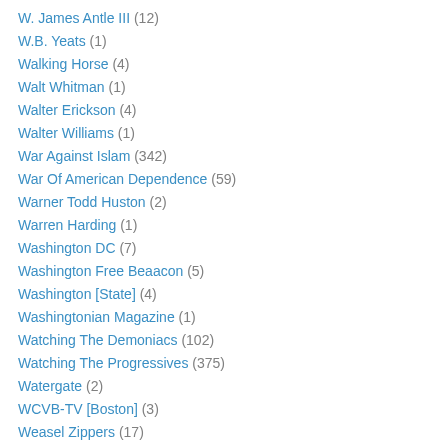W. James Antle III (12)
W.B. Yeats (1)
Walking Horse (4)
Walt Whitman (1)
Walter Erickson (4)
Walter Williams (1)
War Against Islam (342)
War Of American Dependence (59)
Warner Todd Huston (2)
Warren Harding (1)
Washington DC (7)
Washington Free Beaacon (5)
Washington [State] (4)
Washingtonian Magazine (1)
Watching The Demoniacs (102)
Watching The Progressives (375)
Watergate (2)
WCVB-TV [Boston] (3)
Weasel Zippers (17)
Welcome To The Jungle (36)